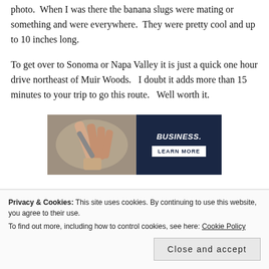photo.  When I was there the banana slugs were mating or something and were everywhere.  They were pretty cool and up to 10 inches long.
To get over to Sonoma or Napa Valley it is just a quick one hour drive northeast of Muir Woods.   I doubt it adds more than 15 minutes to your trip to go this route.   Well worth it.
[Figure (photo): Advertisement image split in two: left side shows a hand holding a pen/pencil in a gray-toned photo; right side is dark navy blue with bold italic white text reading 'BUSINESS.' and a white button reading 'LEARN MORE']
Privacy & Cookies: This site uses cookies. By continuing to use this website, you agree to their use.
To find out more, including how to control cookies, see here: Cookie Policy
Close and accept